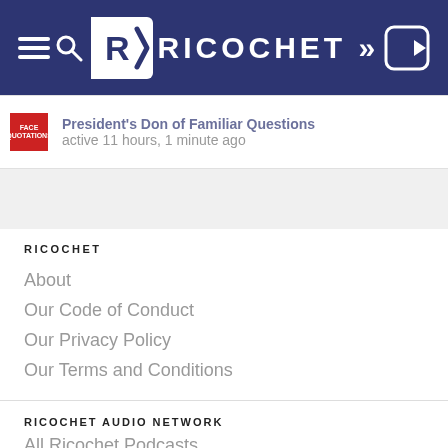RICOCHET
active 11 hours, 1 minute ago
RICOCHET
About
Our Code of Conduct
Our Privacy Policy
Our Terms and Conditions
RICOCHET AUDIO NETWORK
All Ricochet Podcasts